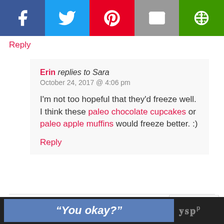[Figure (screenshot): Social share bar with Facebook (dark blue), Twitter (light blue), Pinterest (red), Email (grey), and another share option (green) buttons with white icons]
Reply
Erin replies to Sara
October 24, 2017 @ 4:06 pm

I'm not too hopeful that they'd freeze well. I think these paleo chocolate cupcakes or paleo apple muffins would freeze better. :)

Reply
Terran says
April 16, 2017 @ 6:29 pm
[Figure (screenshot): Scroll to top widget with pink hearts and bold text 'Scroll to top']
“You okay?”